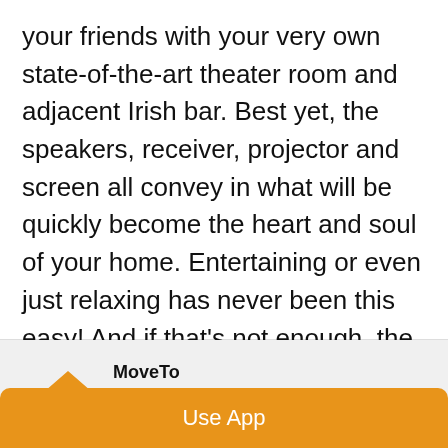your friends with your very own state-of-the-art theater room and adjacent Irish bar. Best yet, the speakers, receiver, projector and screen all convey in what will be quickly become the heart and soul of your home. Entertaining or even just relaxing has never been this easy! And if that's not enough, the terrace level also includes a true separate bedroom, a full bathroom, and several rooms perfect for workouts, another home office, crafting, a pool table or just storage -- and walkout French doors to a private, fenced, low-maintenance back
[Figure (logo): MoveTo app logo - orange house with magnifying glass icon]
MoveTo
Find the home of your dreams.
★★★★☆
Use App